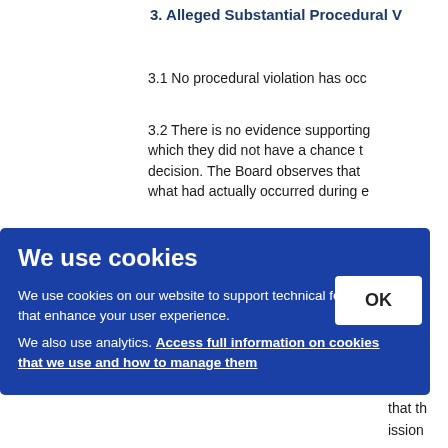3. Alleged Substantial Procedural V
3.1 No procedural violation has occ
3.2 There is no evidence supporting which they did not have a chance t decision. The Board observes that what had actually occurred during e
receipt. In th y sub nmen missio ocee minute that th ission
[Figure (screenshot): Cookie consent overlay dialog with blue background. Title: 'We use cookies'. Body text: 'We use cookies on our website to support technical features that enhance your user experience. We also use analytics. Access full information on cookies that we use and how to manage them'. OK button in white on the right side.]